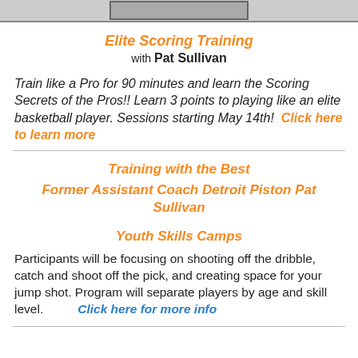[Figure (photo): Partial image at top of page, cropped, showing what appears to be a basketball training photo.]
Elite Scoring Training with Pat Sullivan
Train like a Pro for 90 minutes and learn the Scoring Secrets of the Pros!! Learn 3 points to playing like an elite basketball player. Sessions starting May 14th!  Click here to learn more
Training with the Best Former Assistant Coach Detroit Piston Pat Sullivan
Youth Skills Camps
Participants will be focusing on shooting off the dribble, catch and shoot off the pick, and creating space for your jump shot. Program will separate players by age and skill level.  Click here for more info